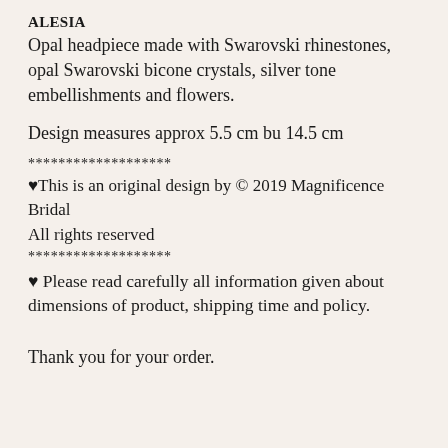ALESIA
Opal headpiece made with Swarovski rhinestones, opal Swarovski bicone crystals, silver tone embellishments and flowers.
Design measures approx 5.5 cm bu 14.5 cm
*******************
♥This is an original design by © 2019 Magnificence Bridal
All rights reserved
*******************
♥ Please read carefully all information given about dimensions of product, shipping time and policy.
Thank you for your order.